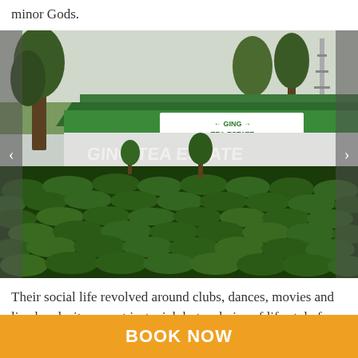minor Gods.
[Figure (photo): A tea estate building with green roof labeled 'GING TEA ESTATE', surrounded by lush green tea bushes on a hillside, with tall trees and telecommunication tower in background.]
Their social life revolved around clubs, dances, movies and live bands, it was not just a job but a choice of life style for the planters.
BOOK NOW